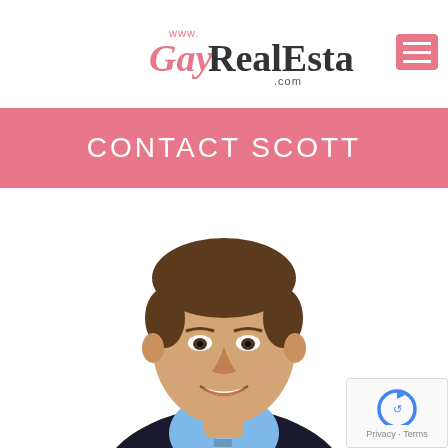www.GayRealEstate.com
CONTACT SCOTT
[Figure (photo): Professional headshot of a man in a dark suit with a blue shirt and striped tie, smiling, white background.]
[Figure (other): reCAPTCHA widget with Privacy - Terms text]